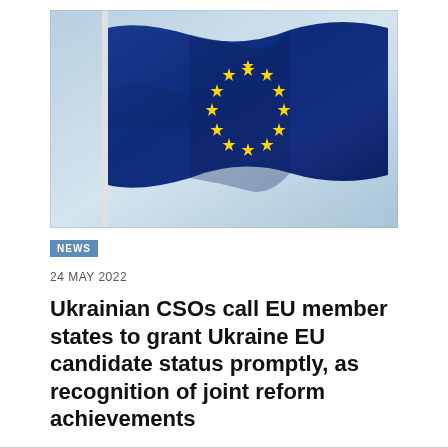[Figure (photo): Photograph of the European Union flag waving against a blue sky background. The flag features a blue field with a circle of twelve yellow stars. A white flagpole is visible on the left.]
NEWS
24 MAY 2022
Ukrainian CSOs call EU member states to grant Ukraine EU candidate status promptly, as recognition of joint reform achievements